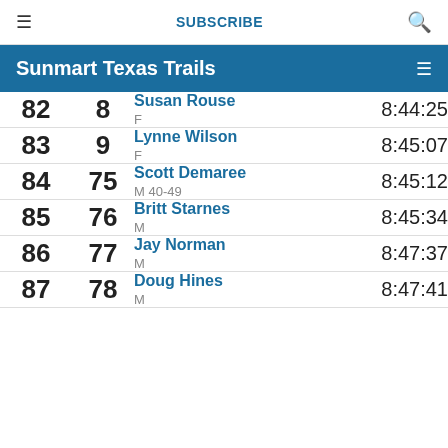≡  SUBSCRIBE  🔍
Sunmart Texas Trails
| Rank | Bib | Name / Category | Time |
| --- | --- | --- | --- |
| 82 | 8 | Susan Rouse / F | 8:44:25 |
| 83 | 9 | Lynne Wilson / F | 8:45:07 |
| 84 | 75 | Scott Demaree / M 40-49 | 8:45:12 |
| 85 | 76 | Britt Starnes / M | 8:45:34 |
| 86 | 77 | Jay Norman / M | 8:47:37 |
| 87 | 78 | Doug Hines / M | 8:47:41 |